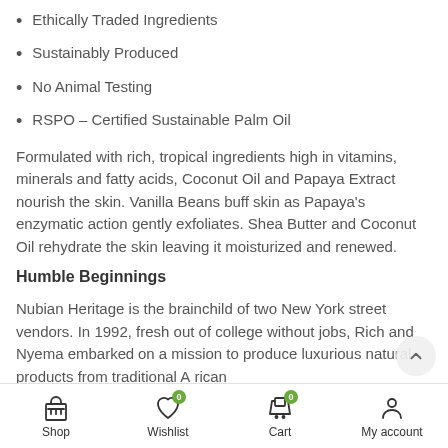Ethically Traded Ingredients
Sustainably Produced
No Animal Testing
RSPO – Certified Sustainable Palm Oil
Formulated with rich, tropical ingredients high in vitamins, minerals and fatty acids, Coconut Oil and Papaya Extract nourish the skin. Vanilla Beans buff skin as Papaya's enzymatic action gently exfoliates. Shea Butter and Coconut Oil rehydrate the skin leaving it moisturized and renewed.
Humble Beginnings
Nubian Heritage is the brainchild of two New York street vendors. In 1992, fresh out of college without jobs, Rich and Nyema embarked on a mission to produce luxurious natural products from traditional African recipes with fair-trade ingredients. Today, Nubian Heritage offers…
Shop | Wishlist 0 | Cart 0 | My account